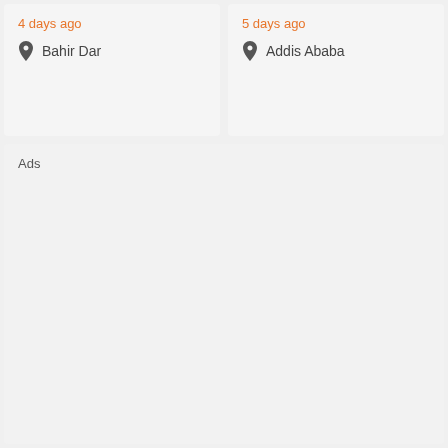4 days ago
Bahir Dar
5 days ago
Addis Ababa
Ads